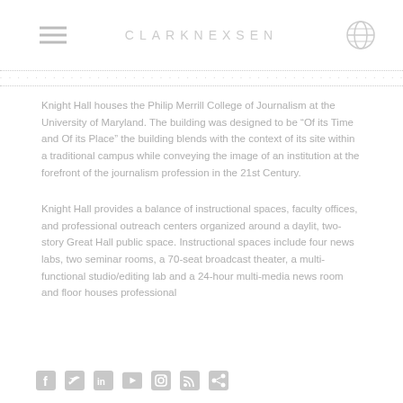CLARKNEXSEN
Knight Hall houses the Philip Merrill College of Journalism at the University of Maryland. The building was designed to be “Of its Time and Of its Place”  the building blends with the context of its site within a traditional campus while conveying the image of an institution at the forefront of the journalism profession in the 21st Century.
Knight Hall provides a balance of instructional spaces, faculty offices, and professional outreach centers organized around a daylit, two-story Great Hall public space. Instructional spaces include four news labs, two seminar rooms, a 70-seat broadcast theater, a multi-functional studio/editing lab and a 24-hour multi-media … and floor houses professional
Social media icons: Facebook, Twitter, LinkedIn, YouTube, Instagram, RSS, Share